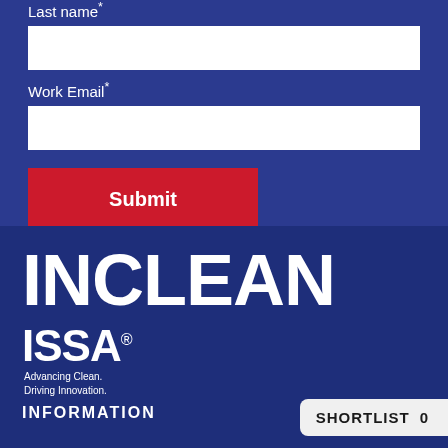Last name*
Work Email*
Submit
[Figure (logo): INCLEAN ISSA logo with tagline 'Advancing Clean. Driving Innovation.' on dark blue background]
INFORMATION
SHORTLIST 0